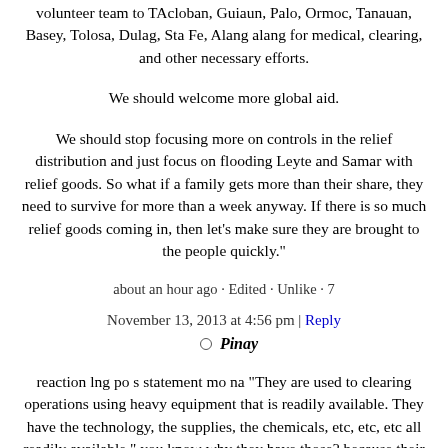volunteer team to TAcloban, Guiaun, Palo, Ormoc, Tanauan, Basey, Tolosa, Dulag, Sta Fe, Alang alang for medical, clearing, and other necessary efforts.
We should welcome more global aid.
We should stop focusing more on controls in the relief distribution and just focus on flooding Leyte and Samar with relief goods. So what if a family gets more than their share, they need to survive for more than a week anyway. If there is so much relief goods coming in, then let's make sure they are brought to the people quickly."
about an hour ago · Edited · Unlike · 7
November 13, 2013 at 4:56 pm | Reply
Pinay
reaction lng po s statement mo na "They are used to clearing operations using heavy equipment that is readily available. They have the technology, the supplies, the chemicals, etc, etc, etc all readily available." you know why they have those? because their government made sure of acquiring them for use during "disasters like typhoons and earth quake in the